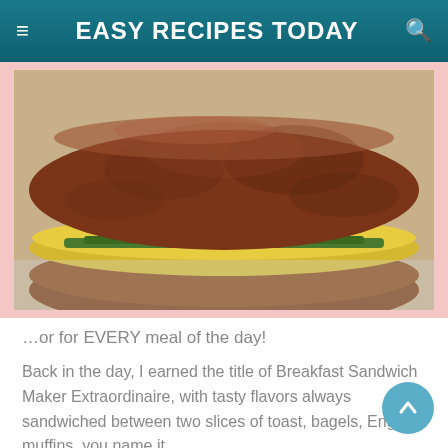EASY RECIPES TODAY
[Figure (photo): Close-up photo of a breakfast sandwich with a sausage patty, egg, and green pepper filling between two bread pieces, on a pink-bordered background.]
…or for EVERY meal of the day!
Back in the day, I earned the title of Breakfast Sandwich Maker Extraordinaire, with tasty flavors always sandwiched between two slices of toast, bagels, English muffins, you name it…